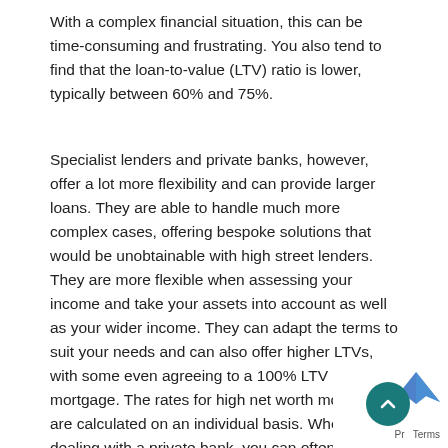With a complex financial situation, this can be time-consuming and frustrating. You also tend to find that the loan-to-value (LTV) ratio is lower, typically between 60% and 75%.
Specialist lenders and private banks, however, offer a lot more flexibility and can provide larger loans. They are able to handle much more complex cases, offering bespoke solutions that would be unobtainable with high street lenders. They are more flexible when assessing your income and take your assets into account as well as your wider income. They can adapt the terms to suit your needs and can also offer higher LTVs, with some even agreeing to a 100% LTV mortgage. The rates for high net worth mortgages are calculated on an individual basis. When dealing with a private bank, you can often obtain a lower interest rate if you place some of your assets with them.